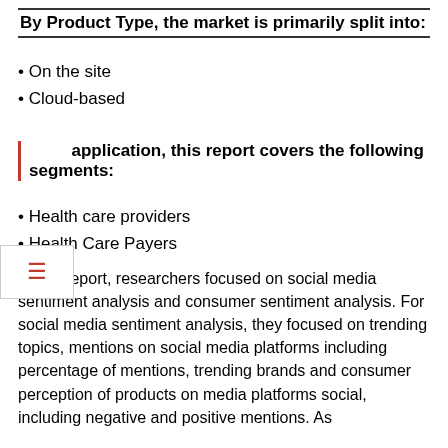By Product Type, the market is primarily split into:
On the site
Cloud-based
application, this report covers the following segments:
Health care providers
Health Care Payers
In this report, researchers focused on social media sentiment analysis and consumer sentiment analysis. For social media sentiment analysis, they focused on trending topics, mentions on social media platforms including percentage of mentions, trending brands and consumer perception of products on media platforms social, including negative and positive mentions. As